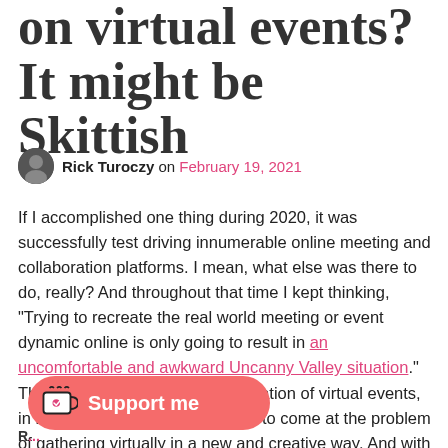on virtual events? It might be Skittish
Rick Turoczy on February 19, 2021
If I accomplished one thing during 2020, it was successfully test driving innumerable online meeting and collaboration platforms. I mean, what else was there to do, really? And throughout that time I kept thinking, “Trying to recreate the real world meeting or event dynamic online is only going to result in an uncomfortable and awkward Uncanny Valley situation.” The true winner of the new generation of virtual events, in my opinion, was going to have to come at the problem of gathering virtually in a new and creative way. And with that in mind, Skittish just might be on to something.